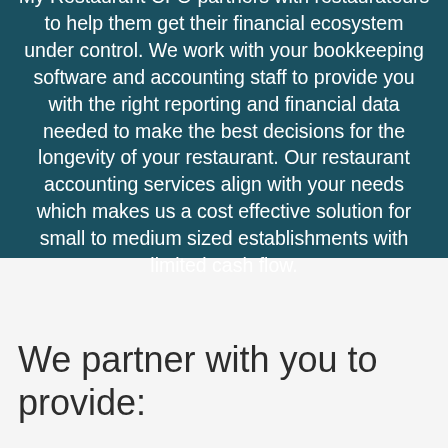My Restaurant CFO partners with restaurateurs to help them get their financial ecosystem under control. We work with your bookkeeping software and accounting staff to provide you with the right reporting and financial data needed to make the best decisions for the longevity of your restaurant. Our restaurant accounting services align with your needs which makes us a cost effective solution for small to medium sized establishments with limited cash flow.
We partner with you to provide: